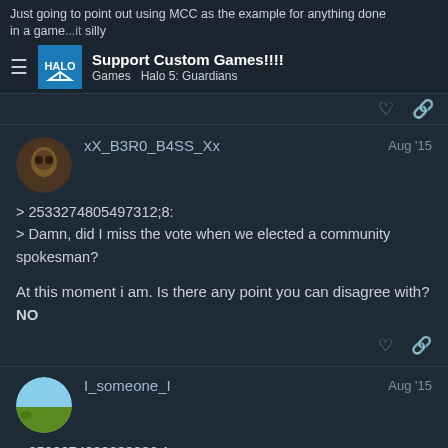Just going to point out using MCC as the example for anything done in a game is silly
Support Custom Games!!!!
Games  Halo 5: Guardians
xX_B3R0_B4SS_Xx
Aug '15
> 2533274805497312;8:
> Damn, did I miss the vote when we elected a community spokesman?

At this moment i am. Is there any point you can disagree with? NO
I_someone_I
Aug '15
> 2533274808033236;1:
> Please support custom games in your nex...
Ignored custom games in MCC
8/17